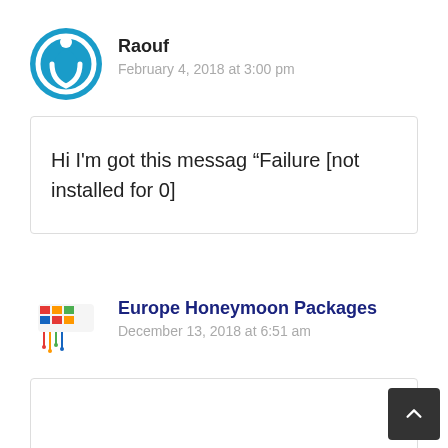Raouf
February 4, 2018 at 3:00 pm
Hi I’m got this messag “Failure [not installed for 0]
Europe Honeymoon Packages
December 13, 2018 at 6:51 am